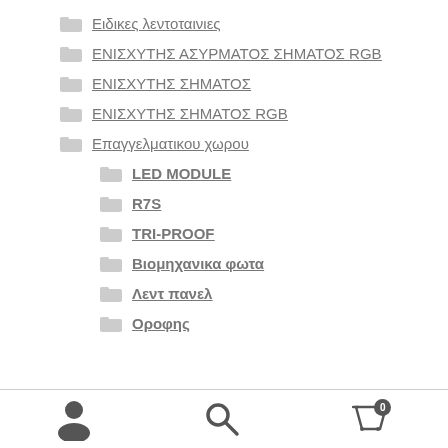Ειδικες λεντοταινιες
ΕΝΙΣΧΥΤΗΣ ΑΣΥΡΜΑΤΟΣ ΣΗΜΑΤΟΣ RGB
ΕΝΙΣΧΥΤΗΣ ΣΗΜΑΤΟΣ
ΕΝΙΣΧΥΤΗΣ ΣΗΜΑΤΟΣ RGB
Επαγγελματικου χωρου
LED MODULE
R7S
TRI-PROOF
Βιομηχανικα φωτα
Λεντ πανελ
Οροφης
user icon | search icon | cart 0